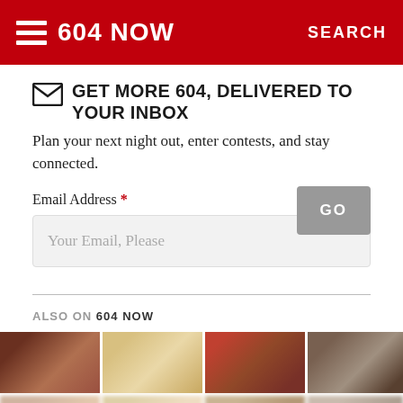604 NOW   SEARCH
GET MORE 604, DELIVERED TO YOUR INBOX
Plan your next night out, enter contests, and stay connected.
Email Address *
Your Email, Please
GO
ALSO ON 604 NOW
[Figure (photo): Four thumbnail images shown in a row below 'ALSO ON 604 NOW' section, partially blurred.]